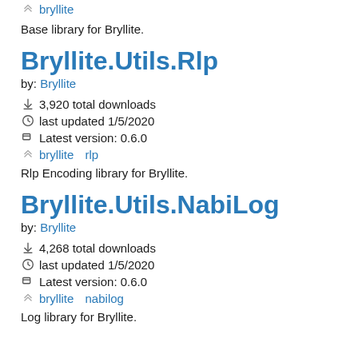bryllite
Base library for Bryllite.
Bryllite.Utils.Rlp
by: Bryllite
3,920 total downloads
last updated 1/5/2020
Latest version: 0.6.0
bryllite rlp
Rlp Encoding library for Bryllite.
Bryllite.Utils.NabiLog
by: Bryllite
4,268 total downloads
last updated 1/5/2020
Latest version: 0.6.0
bryllite nabilog
Log library for Bryllite.